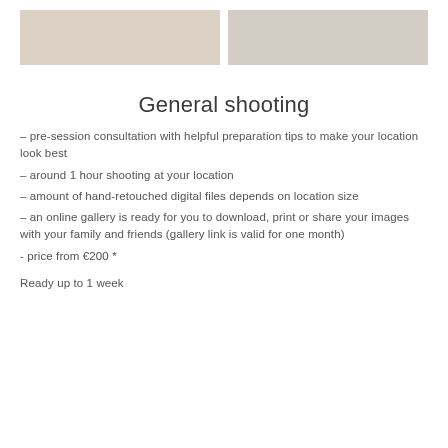[Figure (photo): Two color swatches side by side: left is warm beige/taupe, right is cool grey/taupe]
General shooting
– pre-session consultation with helpful preparation tips to make your location look best
– around 1 hour shooting at your location
– amount of hand-retouched digital files depends on location size
– an online gallery is ready for you to download, print or share your images with your family and friends (gallery link is valid for one month)
- price from €200 *
Ready up to 1 week